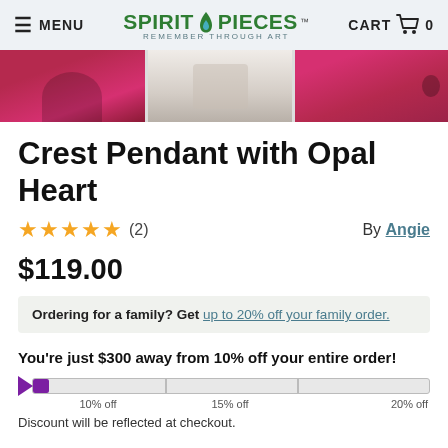MENU | SPIRIT PIECES - REMEMBER THROUGH ART | CART 0
[Figure (photo): Three product photos showing pendants being worn, pink clothing visible]
Crest Pendant with Opal Heart
★★★★★ (2)    By Angie
$119.00
Ordering for a family? Get up to 20% off your family order.
You're just $300 away from 10% off your entire order!
[Figure (infographic): Progress bar showing discount tiers: 10% off, 15% off, 20% off]
Discount will be reflected at checkout.